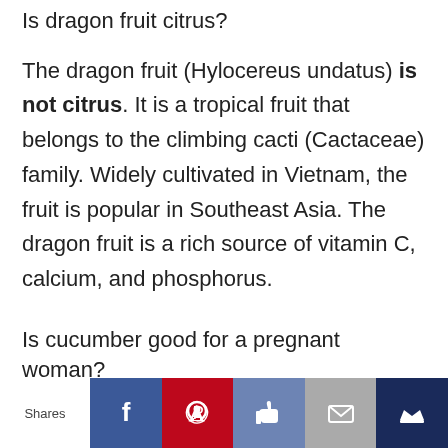Is dragon fruit citrus?
The dragon fruit (Hylocereus undatus) is not citrus. It is a tropical fruit that belongs to the climbing cacti (Cactaceae) family. Widely cultivated in Vietnam, the fruit is popular in Southeast Asia. The dragon fruit is a rich source of vitamin C, calcium, and phosphorus.
Is cucumber good for a pregnant woman?
Cucumber: Cucumber is rich in water that
Shares | Facebook | Pinterest | Like | Mail | Crown